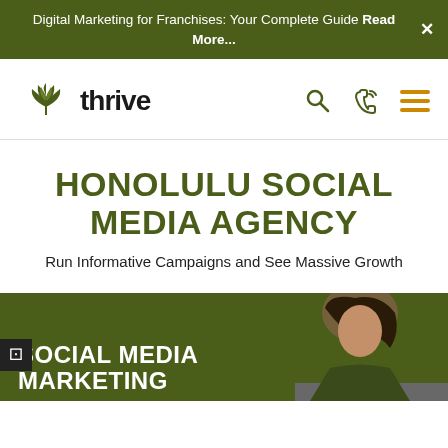Digital Marketing for Franchises: Your Complete Guide Read More...
[Figure (logo): Thrive agency logo with green leaf/tree icon and 'thrive' wordmark in dark text]
HONOLULU SOCIAL MEDIA AGENCY
Run Informative Campaigns and See Massive Growth
[Figure (photo): Hero banner with dark olive green background, woman with dark hair visible on right side, white bold text reading 'SOCIAL MEDIA MARKETING']